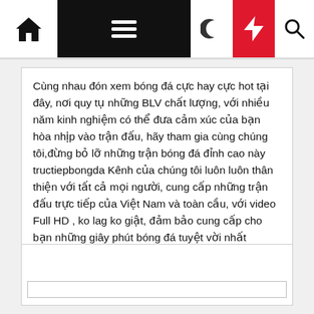[Navigation bar: home icon, hamburger menu, moon icon, lightning icon, search icon]
Cùng nhau đón xem bóng đá cực hay cực hot tại đây, nơi quy tụ những BLV chất lượng, với nhiều năm kinh nghiệm có thể đưa cảm xúc của bạn hòa nhịp vào trận đấu, hãy tham gia cùng chúng tôi,đừng bỏ lỡ những trận bóng đá đỉnh cao này tructiepbongda Kênh của chúng tôi luôn luôn thân thiện với tất cả mọi người, cung cấp những trận đấu trực tiếp của Việt Nam và toàn cầu, với video Full HD , ko lag ko giật, đảm bảo cung cấp cho bạn những giây phút bóng đá tuyệt vời nhất
[Figure (other): Empty white box with a narrow inner rectangle bar at the bottom, likely a comment or input area placeholder]